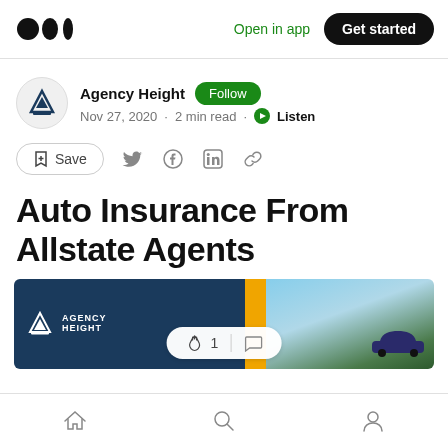Open in app  Get started
Agency Height  Follow
Nov 27, 2020 · 2 min read · Listen
Save
Auto Insurance From Allstate Agents
[Figure (photo): Agency Height banner image showing logo on dark blue background with yellow stripe and car image on right, with clap/comment interaction bar overlay showing 1 clap]
Home  Search  Profile